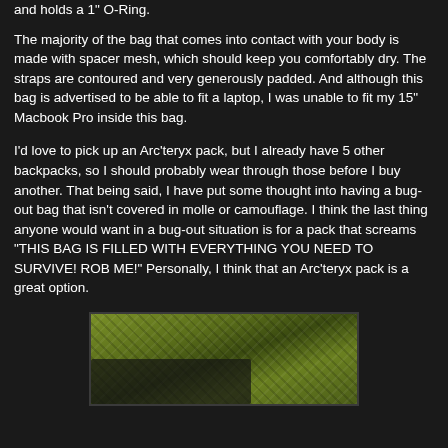and holds a 1" O-Ring.
The majority of the bag that comes into contact with your body is made with spacer mesh, which should keep you comfortably dry. The straps are contoured and very generously padded. And although this bag is advertised to be able to fit a laptop, I was unable to fit my 15" Macbook Pro inside this bag.
I'd love to pick up an Arc'teryx pack, but I already have 5 other backpacks, so I should probably wear through those before I buy another. That being said, I have put some thought into having a bug-out bag that isn't covered in molle or camouflage. I think the last thing anyone would want in a bug-out situation is for a pack that screams "THIS BAG IS FILLED WITH EVERYTHING YOU NEED TO SURVIVE! ROB ME!" Personally, I think that an Arc'teryx pack is a great option.
[Figure (photo): Close-up photo of a yellow-green woven/mesh fabric material with a dark object (possibly a bag buckle or strap hardware) visible in the lower left area.]